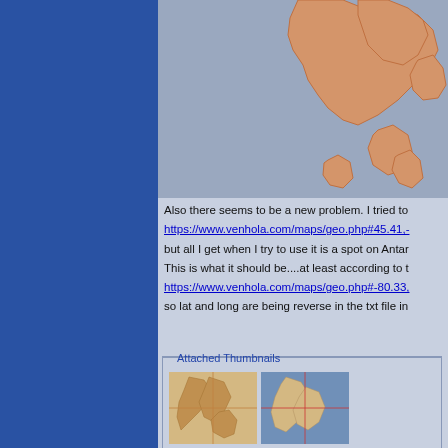[Figure (map): Partial map showing island landmasses in orange/tan on a steel-blue water background, top portion of a geographic map]
Also there seems to be a new problem. I tried to
https://www.venhola.com/maps/geo.php#45.41,-
but all I get when I try to use it is a spot on Antar
This is what it should be....at least according to t
https://www.venhola.com/maps/geo.php#-80.33,
so lat and long are being reverse in the txt file in
[Figure (map): Attached thumbnails showing two small map images side by side - left thumbnail shows tan landmass on tan background with grid lines, right thumbnail shows blue water with landmass and grid lines]